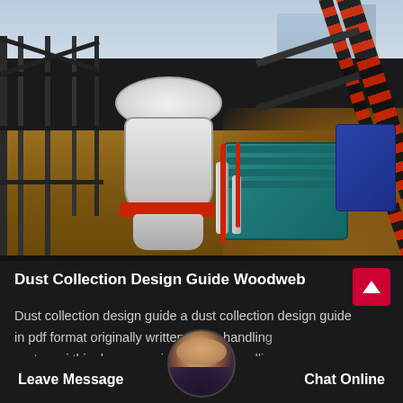[Figure (photo): Aerial/ground-level photo of an industrial mining or crushing plant site showing a large white cone crusher, a teal/blue electric motor, diagonal red and black conveyor belt structure, steel frame scaffolding, blue equipment box, and earthen/dirt surroundings with construction activity in the background.]
Dust Collection Design Guide Woodweb
Dust collection design guide a dust collection design guide in pdf format originally written by air handling systems j this documen...ing your air handling...
Leave Message
Chat Online